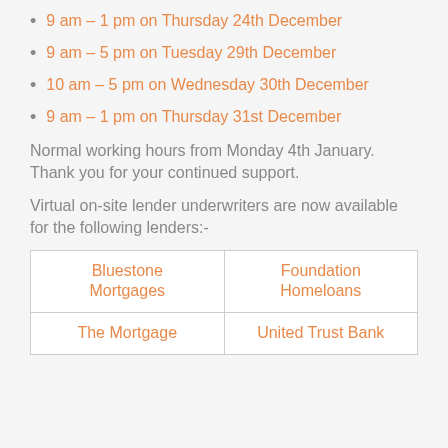9 am – 1 pm on Thursday 24th December
9 am – 5 pm on Tuesday 29th December
10 am – 5 pm on Wednesday 30th December
9 am – 1 pm on Thursday 31st December
Normal working hours from Monday 4th January. Thank you for your continued support.
Virtual on-site lender underwriters are now available for the following lenders:-
| Bluestone Mortgages | Foundation Homeloans |
| The Mortgage | United Trust Bank |